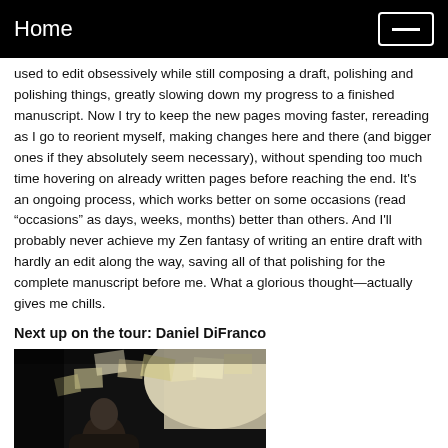Home
used to edit obsessively while still composing a draft, polishing and polishing things, greatly slowing down my progress to a finished manuscript. Now I try to keep the new pages moving faster, rereading as I go to reorient myself, making changes here and there (and bigger ones if they absolutely seem necessary), without spending too much time hovering on already written pages before reaching the end. It’s an ongoing process, which works better on some occasions (read “occasions” as days, weeks, months) better than others. And I’ll probably never achieve my Zen fantasy of writing an entire draft with hardly an edit along the way, saving all of that polishing for the complete manuscript before me. What a glorious thought—actually gives me chills.
Next up on the tour: Daniel DiFranco
[Figure (photo): A person sitting and writing or working at a desk surrounded by papers and documents, photographed in low light conditions.]